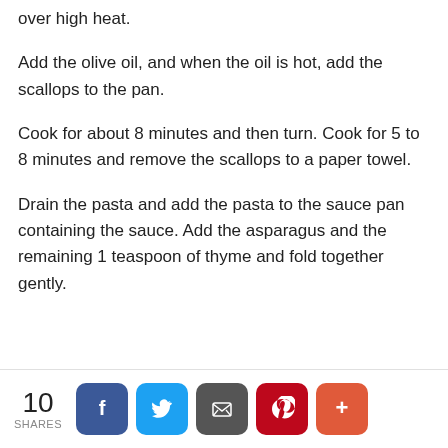over high heat.
Add the olive oil, and when the oil is hot, add the scallops to the pan.
Cook for about 8 minutes and then turn. Cook for 5 to 8 minutes and remove the scallops to a paper towel.
Drain the pasta and add the pasta to the sauce pan containing the sauce. Add the asparagus and the remaining 1 teaspoon of thyme and fold together gently.
10 SHARES